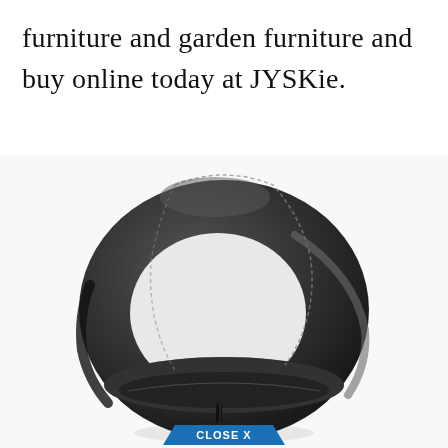furniture and garden furniture and buy online today at JYSKie.
[Figure (photo): A black leather round/circular seat cushion chair on a chrome pedestal base, photographed from a slightly elevated angle against a white background. At the bottom of the image is a blue 'CLOSE X' button.]